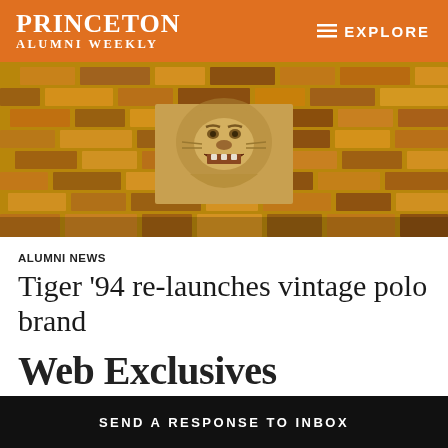PRINCETON ALUMNI WEEKLY  ≡ EXPLORE
[Figure (photo): Stone lion gargoyle or architectural decoration mounted on a brick wall, close-up view showing golden-brown brick texture]
ALUMNI NEWS
Tiger '94 re-launches vintage polo brand
Web Exclusives
SEND A RESPONSE TO INBOX